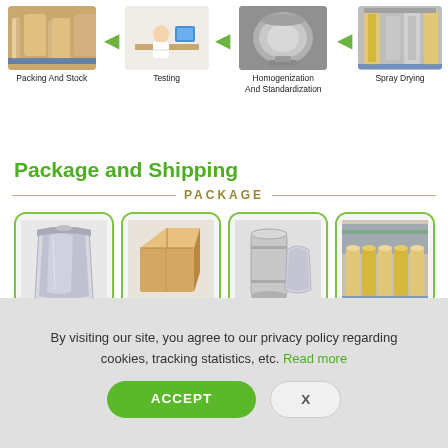[Figure (infographic): Manufacturing process flow showing 4 steps with arrows: Packing And Stock, Testing, Homogenization And Standardization, Spray Drying]
Package and Shipping
[Figure (infographic): Package options shown as 4 image tiles: 1KG / Bag, 5-10KG / Carton, 25KG / Drum, Delivery. Header reads PACKAGE with decorative lines.]
By visiting our site, you agree to our privacy policy regarding cookies, tracking statistics, etc. Read more